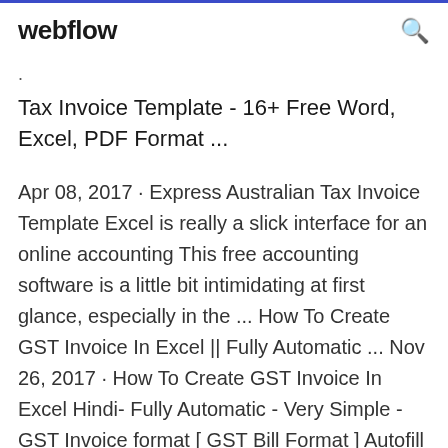webflow  🔍
Tax Invoice Template - 16+ Free Word, Excel, PDF Format ...
Apr 08, 2017 · Express Australian Tax Invoice Template Excel is really a slick interface for an online accounting This free accounting software is a little bit intimidating at first glance, especially in the ... How To Create GST Invoice In Excel || Fully Automatic ... Nov 26, 2017 · How To Create GST Invoice In Excel Hindi- Fully Automatic - Very Simple - GST Invoice format [ GST Bill Format ] Autofill By Codes - Create an automated GST invoice in excel auto fill by just GST Invoice format in